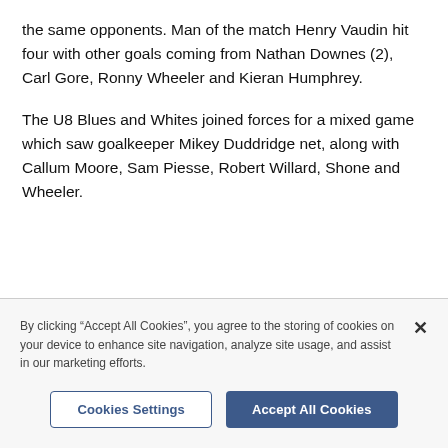the same opponents. Man of the match Henry Vaudin hit four with other goals coming from Nathan Downes (2), Carl Gore, Ronny Wheeler and Kieran Humphrey.
The U8 Blues and Whites joined forces for a mixed game which saw goalkeeper Mikey Duddridge net, along with Callum Moore, Sam Piesse, Robert Willard, Shone and Wheeler.
By clicking “Accept All Cookies”, you agree to the storing of cookies on your device to enhance site navigation, analyze site usage, and assist in our marketing efforts.